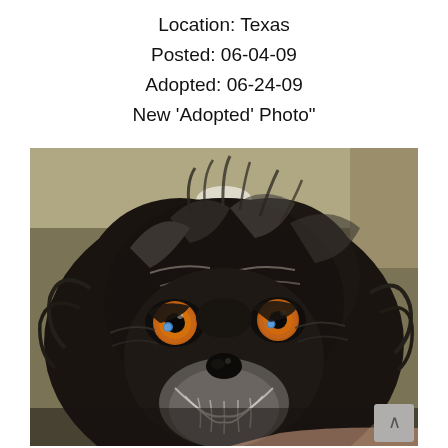Location: Texas
Posted: 06-04-09
Adopted: 06-24-09
New 'Adopted' Photo"
[Figure (photo): Close-up photo of a dark-furred dog (appears to be a Shih Tzu or similar breed) with amber/orange eyes with blue reflections, black and silver-grey fur, flat face, small black nose, and white beard area. The dog is looking directly at the camera. Background is brownish/olive colored.]